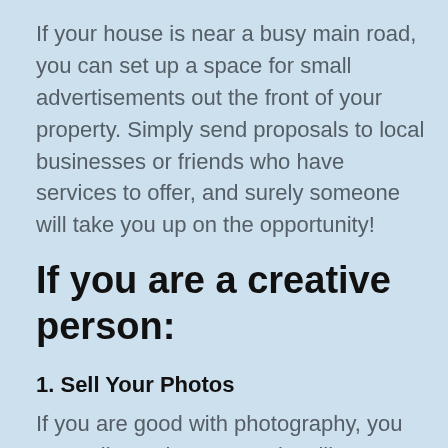If your house is near a busy main road, you can set up a space for small advertisements out the front of your property. Simply send proposals to local businesses or friends who have services to offer, and surely someone will take you up on the opportunity!
If you are a creative person:
1. Sell Your Photos
If you are good with photography, you can sell your images at sites like Shutterstock or